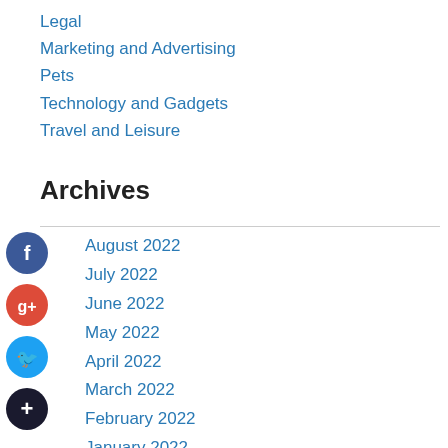Legal
Marketing and Advertising
Pets
Technology and Gadgets
Travel and Leisure
Archives
August 2022
July 2022
June 2022
May 2022
April 2022
March 2022
February 2022
January 2022